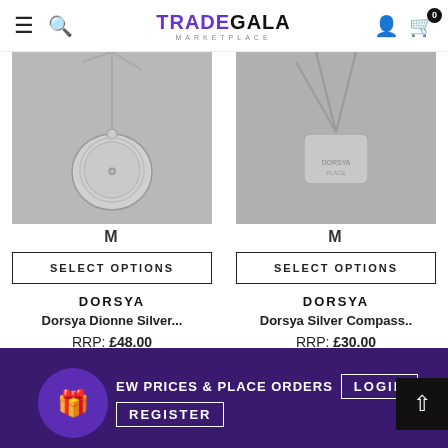TradeGala Marketplace — navigation header with hamburger, search, logo, user icon, cart (0)
[Figure (photo): Silver pendant necklace product photo for Dorsya Dionne Silver]
M
SELECT OPTIONS
DORSYA
Dorsya Dionne Silver...
RRP: £48.00
[Figure (photo): Seller thumbnail circle image for first product]
[Figure (photo): Silver compass pendant necklace product photo for Dorsya Silver Compass]
M
SELECT OPTIONS
DORSYA
Dorsya Silver Compass..
RRP: £30.00
[Figure (photo): Seller thumbnail circle image for second product]
EW PRICES & PLACE ORDERS  LOGIN  REGISTER — purple footer banner